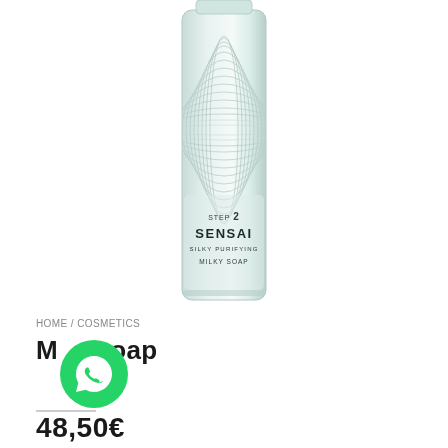[Figure (photo): SENSAI Silky Purifying Milky Soap product bottle — tall white/light teal bottle with horizontal ribbed texture pattern in upper half, labeled 'STEP 2 SENSAI SILKY PURIFYING MILKY SOAP']
HOME / COSMETICS
Milky Soap
48,50€